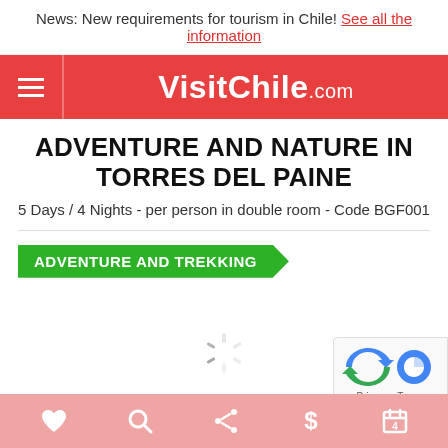News: New requirements for tourism in Chile! See all the information
VisitChile.com
ADVENTURE AND NATURE IN TORRES DEL PAINE
5 Days / 4 Nights - per person in double room - Code BGF001
ADVENTURE AND TREKKING
[Figure (other): Loading spinner (animated circle indicator)]
[Figure (other): Google reCAPTCHA widget showing logo and arrows with Privacy and Terms links]
Bottom navigation bar with heart, search, share, dollar, and book icons